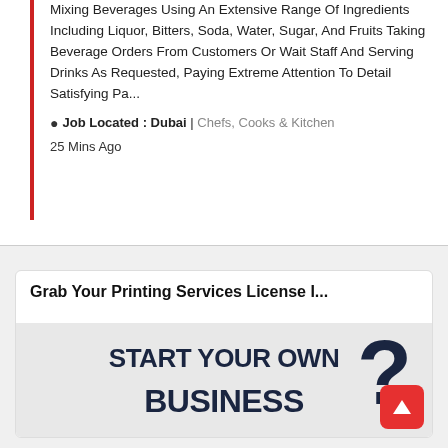Mixing Beverages Using An Extensive Range Of Ingredients Including Liquor, Bitters, Soda, Water, Sugar, And Fruits Taking Beverage Orders From Customers Or Wait Staff And Serving Drinks As Requested, Paying Extreme Attention To Detail Satisfying Pa...
Job Located : Dubai | Chefs, Cooks & Kitchen
25 Mins Ago
Grab Your Printing Services License I...
[Figure (photo): An advertisement image with bold dark navy text reading 'START YOUR OWN BUSINESS?' with a large question mark, and a hand partially visible holding a marker. Red circular button with upward arrow in bottom right corner.]